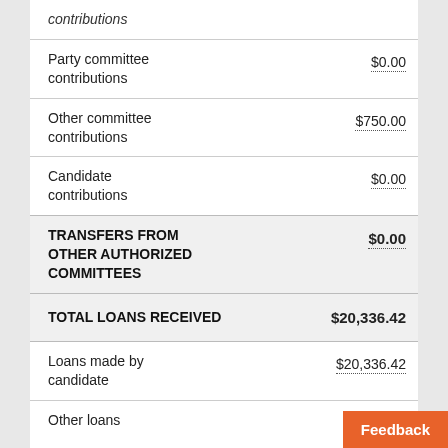| Category | Amount |
| --- | --- |
| contributions |  |
| Party committee contributions | $0.00 |
| Other committee contributions | $750.00 |
| Candidate contributions | $0.00 |
| TRANSFERS FROM OTHER AUTHORIZED COMMITTEES | $0.00 |
| TOTAL LOANS RECEIVED | $20,336.42 |
| Loans made by candidate | $20,336.42 |
| Other loans |  |